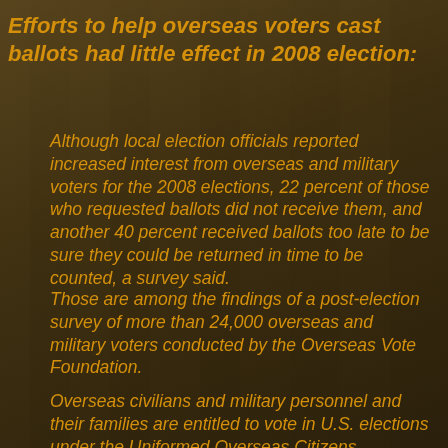Efforts to help overseas voters cast ballots had little effect in 2008 election:
Although local election officials reported increased interest from overseas and military voters for the 2008 elections, 22 percent of those who requested ballots did not receive them, and another 40 percent received ballots too late to be sure they could be returned in time to be counted, a survey said.
Those are among the findings of a post-election survey of more than 24,000 overseas and military voters conducted by the Overseas Vote Foundation.
Overseas civilians and military personnel and their families are entitled to vote in U.S. elections under the Uniformed Overseas Citizens Absentee Voting Act (UOCAVA), but these voters often